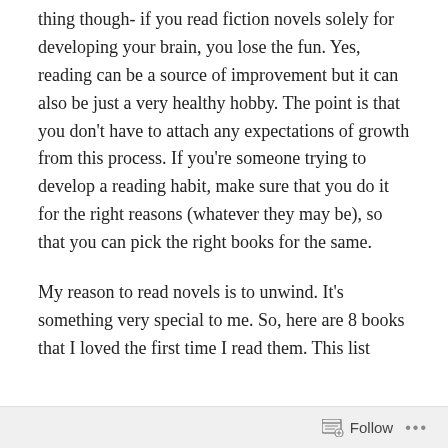thing though- if you read fiction novels solely for developing your brain, you lose the fun. Yes, reading can be a source of improvement but it can also be just a very healthy hobby. The point is that you don't have to attach any expectations of growth from this process. If you're someone trying to develop a reading habit, make sure that you do it for the right reasons (whatever they may be), so that you can pick the right books for the same.
My reason to read novels is to unwind. It's something very special to me. So, here are 8 books that I loved the first time I read them. This list includes...
Follow ...